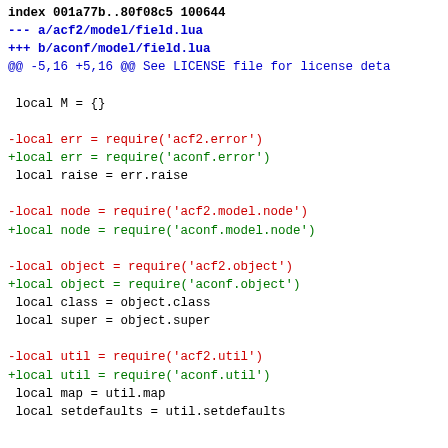index 001a77b..80f08c5 100644
--- a/acf2/model/field.lua
+++ b/aconf/model/field.lua
@@ -5,16 +5,16 @@ See LICENSE file for license deta

 local M = {}

-local err = require('acf2.error')
+local err = require('aconf.error')
 local raise = err.raise

-local node = require('acf2.model.node')
+local node = require('aconf.model.node')

-local object = require('acf2.object')
+local object = require('aconf.object')
 local class = object.class
 local super = object.super

-local util = require('acf2.util')
+local util = require('aconf.util')
 local map = util.map
 local setdefaults = util.setdefaults


diff --git a/acf2/model/init.lua b/aconf/model/init
index bbefbc8..c0b5998 100644
--- a/acf2/model/init.lua
+++ b/aconf/model/init.lua
@@ -5,31 +5,31 @@ See LICENSE file for license deta